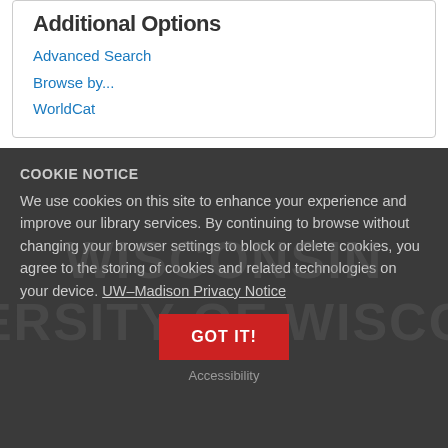Additional Options
Advanced Search
Browse by...
WorldCat
COOKIE NOTICE
We use cookies on this site to enhance your experience and improve our library services. By continuing to browse without changing your browser settings to block or delete cookies, you agree to the storing of cookies and related technologies on your device. UW–Madison Privacy Notice
GOT IT!
Accessibility